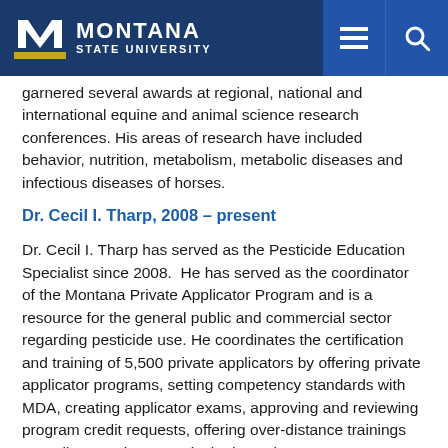Montana State University
garnered several awards at regional, national and international equine and animal science research conferences. His areas of research have included behavior, nutrition, metabolism, metabolic diseases and infectious diseases of horses.
Dr. Cecil I. Tharp, 2008 – present
Dr. Cecil I. Tharp has served as the Pesticide Education Specialist since 2008.  He has served as the coordinator of the Montana Private Applicator Program and is a resource for the general public and commercial sector regarding pesticide use. He coordinates the certification and training of 5,500 private applicators by offering private applicator programs, setting competency standards with MDA, creating applicator exams, approving and reviewing program credit requests, offering over-distance trainings as well as serving as an invited speaker at 30 – 40 programs per year.
In efforts to reduce pesticide poisonings and reduce non-target impacts from pesticides he routinely publishes MSU Extension